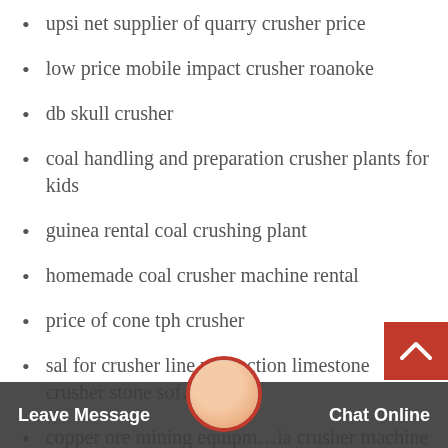upsi net supplier of quarry crusher price
low price mobile impact crusher roanoke
db skull crusher
coal handling and preparation crusher plants for kids
guinea rental coal crushing plant
homemade coal crusher machine rental
price of cone tph crusher
sal for crusher line production limestone crusher stone sof…
copper ore mining equipm…ia crusher machine for sale
crushing equipment ore for sale manganese fo6yd